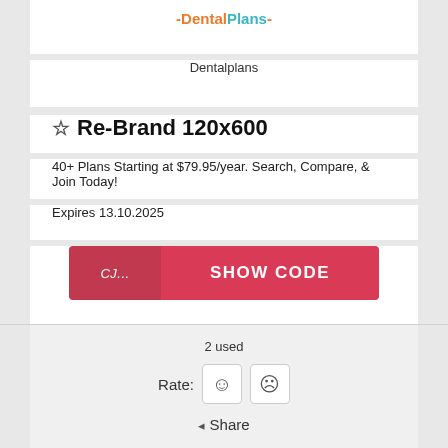[Figure (logo): DentalPlans logo with orange 'Dental' and teal 'Plans' text]
Dentalplans
☆ Re-Brand 120x600
40+ Plans Starting at $79.95/year. Search, Compare, & Join Today!
Expires 13.10.2025
CJ... SHOW CODE
2 used
Rate: ☺ ☹
◂ Share
[Figure (logo): ExamEdge logo with blue and red text and registered trademark symbol]